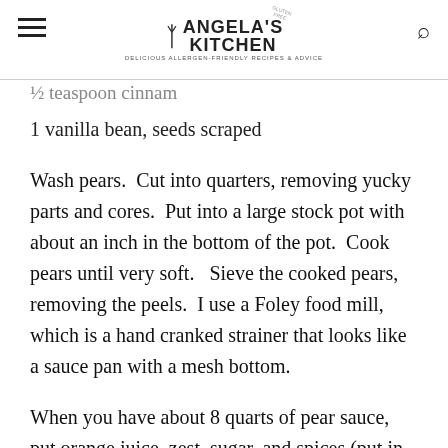Angela's Kitchen
1 vanilla bean, seeds scraped
Wash pears.  Cut into quarters, removing yucky parts and cores.  Put into a large stock pot with about an inch in the bottom of the pot.  Cook pears until very soft.   Sieve the cooked pears, removing the peels.  I use a Foley food mill, which is a hand cranked strainer that looks like a sauce pan with a mesh bottom.
When you have about 8 quarts of pear sauce, put orange juice, zest, sugar, and spices (put in vanilla bean and seeds into crock – remove bean when pear